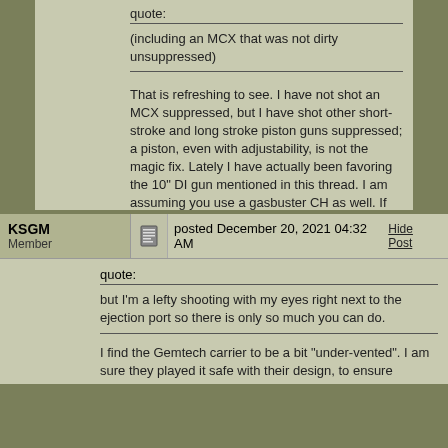quote:
(including an MCX that was not dirty unsuppressed)
That is refreshing to see. I have not shot an MCX suppressed, but I have shot other short-stroke and long stroke piston guns suppressed; a piston, even with adjustability, is not the magic fix. Lately I have actually been favoring the 10" DI gun mentioned in this thread. I am assuming you use a gasbuster CH as well. If you don't, definitely try one. I have done side-by-side comparisons, and they absolutely work.
Posts: 1078 | Location: Northeast GA | Registered: February 15, 2021
KSGM Member
posted December 20, 2021 04:32 AM
Hide Post
quote:
but I'm a lefty shooting with my eyes right next to the ejection port so there is only so much you can do.
I find the Gemtech carrier to be a bit "under-vented". I am sure they played it safe with their design, to ensure